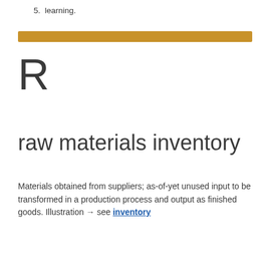5.  learning.
R
raw materials inventory
Materials obtained from suppliers; as-of-yet unused input to be transformed in a production process and output as finished goods. Illustration → see inventory